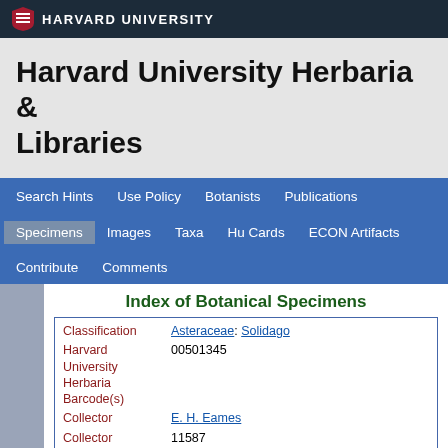HARVARD UNIVERSITY
Harvard University Herbaria & Libraries
Search Hints | Use Policy | Botanists | Publications | Specimens | Images | Taxa | Hu Cards | ECON Artifacts | Contribute | Comments
Index of Botanical Specimens
| Field | Value |
| --- | --- |
| Classification | Asteraceae: Solidago |
| Harvard University Herbaria Barcode(s) | 00501345 |
| Collector | E. H. Eames |
| Collector number | 11587 |
| Country | United States of America |
| State | Connecticut |